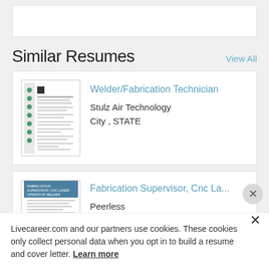Similar Resumes
View All
[Figure (screenshot): Thumbnail of Welder/Fabrication Technician resume with green checkmarks on left side]
Welder/Fabrication Technician
Stulz Air Technology
City , STATE
[Figure (screenshot): Thumbnail of Fabrication Supervisor, CNC La... resume with blue header text]
Fabrication Supervisor, Cnc La...
Peerless
Livecareer.com and our partners use cookies. These cookies only collect personal data when you opt in to build a resume and cover letter. Learn more